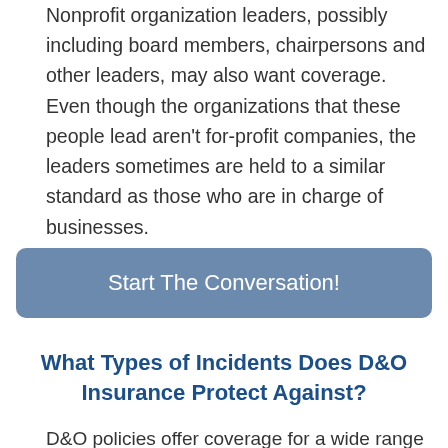Nonprofit organization leaders, possibly including board members, chairpersons and other leaders, may also want coverage. Even though the organizations that these people lead aren't for-profit companies, the leaders sometimes are held to a similar standard as those who are in charge of businesses.
[Figure (other): A blue-gray rounded rectangle button with white text reading 'Start The Conversation!']
What Types of Incidents Does D&O Insurance Protect Against?
D&O policies offer coverage for a wide range of incidents.